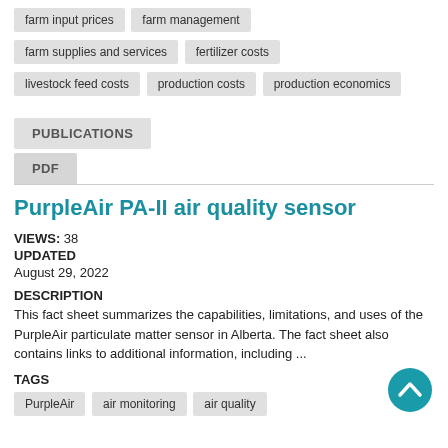farm input prices
farm management
farm supplies and services
fertilizer costs
livestock feed costs
production costs
production economics
PUBLICATIONS
PDF
PurpleAir PA-II air quality sensor
VIEWS: 38
UPDATED
August 29, 2022
DESCRIPTION
This fact sheet summarizes the capabilities, limitations, and uses of the PurpleAir particulate matter sensor in Alberta. The fact sheet also contains links to additional information, including ...
TAGS
PurpleAir
air monitoring
air quality